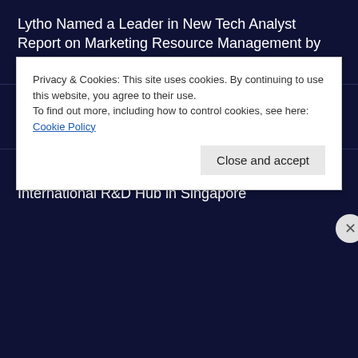Lytho Named a Leader in New Tech Analyst Report on Marketing Resource Management by Research in Action
Pax8 Honored with Three XCellence Awards at 2022 August XChange
AvePoint Establishes New $100 Million SGD International R&D Hub in Singapore
Privacy & Cookies: This site uses cookies. By continuing to use this website, you agree to their use.
To find out more, including how to control cookies, see here: Cookie Policy
Close and accept